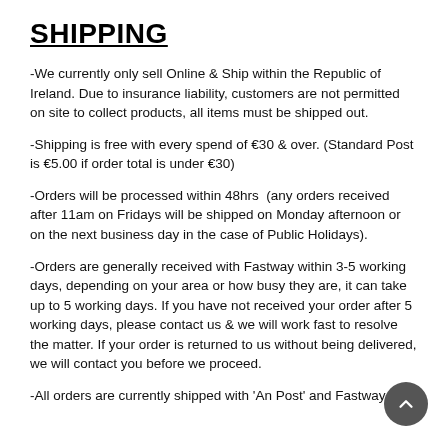SHIPPING
-We currently only sell Online & Ship within the Republic of Ireland. Due to insurance liability, customers are not permitted on site to collect products, all items must be shipped out.
-Shipping is free with every spend of €30 & over. (Standard Post is €5.00 if order total is under €30)
-Orders will be processed within 48hrs  (any orders received after 11am on Fridays will be shipped on Monday afternoon or on the next business day in the case of Public Holidays).
-Orders are generally received with Fastway within 3-5 working days, depending on your area or how busy they are, it can take up to 5 working days. If you have not received your order after 5 working days, please contact us & we will work fast to resolve the matter. If your order is returned to us without being delivered, we will contact you before we proceed.
-All orders are currently shipped with 'An Post' and Fastway.